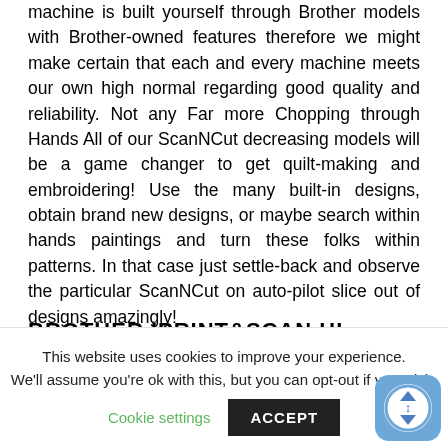machine is built yourself through Brother models with Brother-owned features therefore we might make certain that each and every machine meets our own high normal regarding good quality and reliability. Not any Far more Chopping through Hands All of our ScanNCut decreasing models will be a game changer to get quilt-making and embroidering! Use the many built-in designs, obtain brand new designs, or maybe search within hands paintings and turn these folks within patterns. In that case just settle-back and observe the particular ScanNCut on auto-pilot slice out of designs amazingly!
BROTHER IPRINT&SCAN HI.-
This website uses cookies to improve your experience. We'll assume you're ok with this, but you can opt-out if you wish.
Cookie settings
ACCEPT